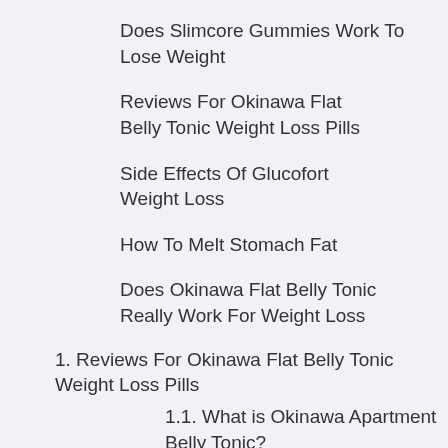Does Slimcore Gummies Work To Lose Weight
Reviews For Okinawa Flat Belly Tonic Weight Loss Pills
Side Effects Of Glucofort Weight Loss
How To Melt Stomach Fat
Does Okinawa Flat Belly Tonic Really Work For Weight Loss
1. Reviews For Okinawa Flat Belly Tonic Weight Loss Pills
1.1. What is Okinawa Apartment Belly Tonic?